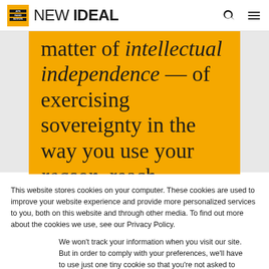NEW IDEAL
[Figure (screenshot): Yellow background pull-quote block showing partial text: 'matter of intellectual independence — of exercising sovereignty in the way you use your reason, reach conclusions, form values, and' (cut off)]
This website stores cookies on your computer. These cookies are used to improve your website experience and provide more personalized services to you, both on this website and through other media. To find out more about the cookies we use, see our Privacy Policy.
We won't track your information when you visit our site. But in order to comply with your preferences, we'll have to use just one tiny cookie so that you're not asked to make this choice again.